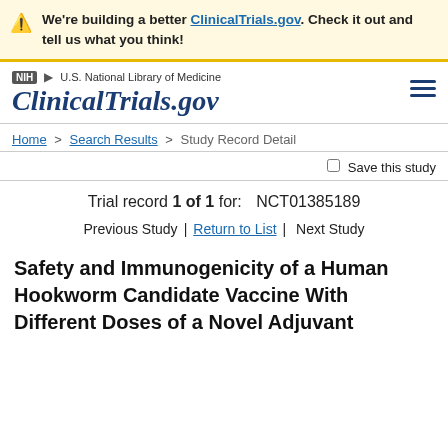We're building a better ClinicalTrials.gov. Check it out and tell us what you think!
NIH U.S. National Library of Medicine | ClinicalTrials.gov
Home > Search Results > Study Record Detail
Save this study
Trial record 1 of 1 for: NCT01385189
Previous Study | Return to List | Next Study
Safety and Immunogenicity of a Human Hookworm Candidate Vaccine With Different Doses of a Novel Adjuvant